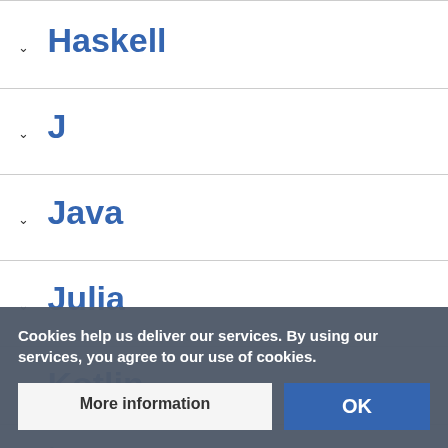Haskell
J
Java
Julia
Kotlin
Lua
Cookies help us deliver our services. By using our services, you agree to our use of cookies.